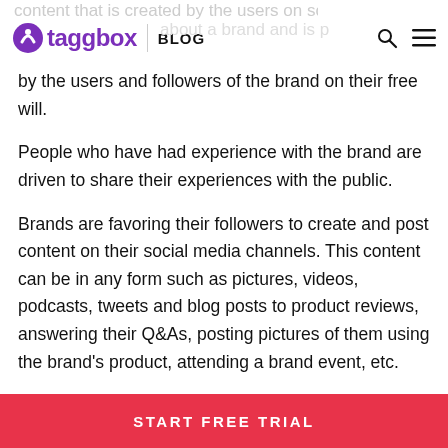taggbox BLOG
content that is created by the users on social platforms about a brand and is posted by the users and followers of the brand on their free will.
People who have had experience with the brand are driven to share their experiences with the public.
Brands are favoring their followers to create and post content on their social media channels. This content can be in any form such as pictures, videos, podcasts, tweets and blog posts to product reviews, answering their Q&As, posting pictures of them using the brand's product, attending a brand event, etc.
START FREE TRIAL